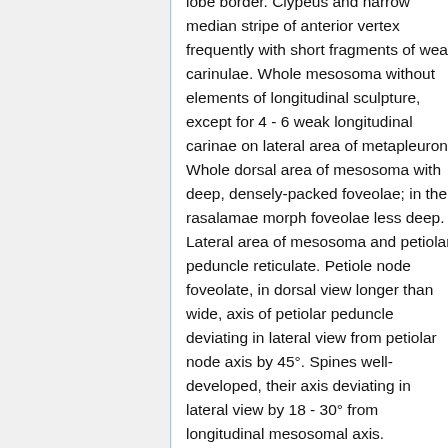lobe border. Clypeus and narrow median stripe of anterior vertex frequently with short fragments of weak carinulae. Whole mesosoma without elements of longitudinal sculpture, except for 4 - 6 weak longitudinal carinae on lateral area of metapleuron. Whole dorsal area of mesosoma with deep, densely-packed foveolae; in the rasalamae morph foveolae less deep. Lateral area of mesosoma and petiolar peduncle reticulate. Petiole node foveolate, in dorsal view longer than wide, axis of petiolar peduncle deviating in lateral view from petiolar node axis by 45°. Spines well-developed, their axis deviating in lateral view by 18 - 30° from longitudinal mesosomal axis. Postpetiole with a strong anteroventral bulge, in dorsal view wider than long, with strongly convex sides, slightly concave anterior